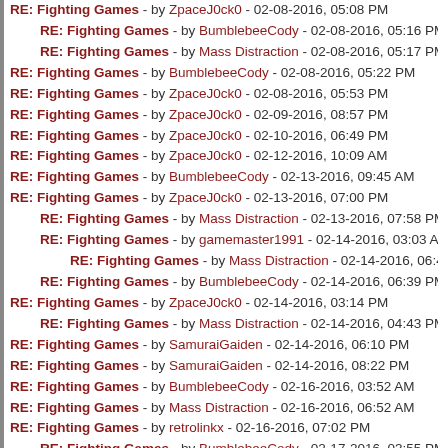RE: Fighting Games - by ZpaceJ0ck0 - 02-08-2016, 05:08 PM
RE: Fighting Games - by BumblebeeCody - 02-08-2016, 05:16 PM
RE: Fighting Games - by Mass Distraction - 02-08-2016, 05:17 PM
RE: Fighting Games - by BumblebeeCody - 02-08-2016, 05:22 PM
RE: Fighting Games - by ZpaceJ0ck0 - 02-08-2016, 05:53 PM
RE: Fighting Games - by ZpaceJ0ck0 - 02-09-2016, 08:57 PM
RE: Fighting Games - by ZpaceJ0ck0 - 02-10-2016, 06:49 PM
RE: Fighting Games - by ZpaceJ0ck0 - 02-12-2016, 10:09 AM
RE: Fighting Games - by BumblebeeCody - 02-13-2016, 09:45 AM
RE: Fighting Games - by ZpaceJ0ck0 - 02-13-2016, 07:00 PM
RE: Fighting Games - by Mass Distraction - 02-13-2016, 07:58 PM
RE: Fighting Games - by gamemaster1991 - 02-14-2016, 03:03 AM
RE: Fighting Games - by Mass Distraction - 02-14-2016, 06:47 AM
RE: Fighting Games - by BumblebeeCody - 02-14-2016, 06:39 PM
RE: Fighting Games - by ZpaceJ0ck0 - 02-14-2016, 03:14 PM
RE: Fighting Games - by Mass Distraction - 02-14-2016, 04:43 PM
RE: Fighting Games - by SamuraiGaiden - 02-14-2016, 06:10 PM
RE: Fighting Games - by SamuraiGaiden - 02-14-2016, 08:22 PM
RE: Fighting Games - by BumblebeeCody - 02-16-2016, 03:52 AM
RE: Fighting Games - by Mass Distraction - 02-16-2016, 06:52 AM
RE: Fighting Games - by retrolinkx - 02-16-2016, 07:02 PM
RE: Fighting Games - by BumblebeeCody - 02-17-2016, 03:55 PM
RE: Fighting Games - by Psychospacecow - 02-17-2016, 04:24 PM
RE: Fighting Games - by BumblebeeCody - 02-17-2016, 05:18 PM
RE: Fighting Games - by ZpaceJ0ck0 - 02-17-2016, 08:03 PM